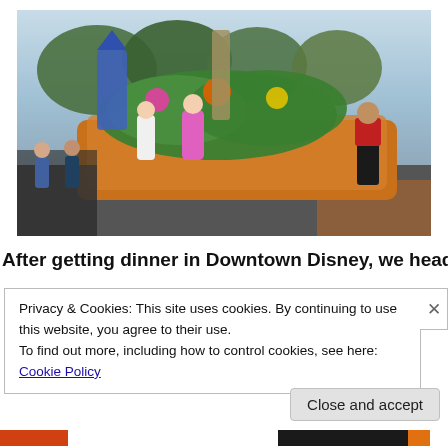[Figure (photo): Disney parade float with princess characters in colorful costumes on an ornate float, spectators watching along the street, a cast member in red vest visible on the right side.]
After getting dinner in Downtown Disney, we headed back
Privacy & Cookies: This site uses cookies. By continuing to use this website, you agree to their use.
To find out more, including how to control cookies, see here: Cookie Policy
Close and accept